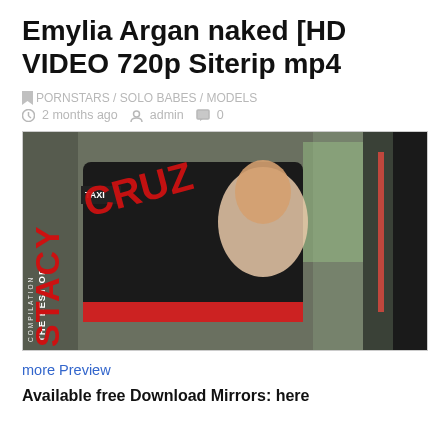Emylia Argan naked [HD VIDEO 720p Siterip mp4
PORNSTARS / SOLO BABES / MODELS
2 months ago   admin   0
[Figure (photo): Woman in taxi cab interior with 'THE BEST OF STACY CRUZ' compilation overlay text in red]
more Preview
Available free Download Mirrors: here